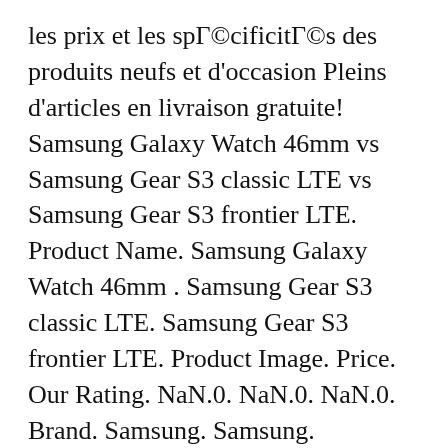les prix et les spécificités des produits neufs et d'occasion Pleins d'articles en livraison gratuite! Samsung Galaxy Watch 46mm vs Samsung Gear S3 classic LTE vs Samsung Gear S3 frontier LTE. Product Name. Samsung Galaxy Watch 46mm . Samsung Gear S3 classic LTE. Samsung Gear S3 frontier LTE. Product Image. Price. Our Rating. NaN.0. NaN.0. NaN.0. Brand. Samsung. Samsung. Samsung. Category. Smartwatch. Smartwatch. Smartwatch. Where to Buy & Price . Buy. General . Release. вЂ¦
20/09/2018В В· CHECK UPDATED PRICES w/ MY AFFILIATE LINKS http://geni.us/h8F3up Full Transparency for my audience: Links above are my affiliate links to Amazon Associates o... Les meilleures offres pour Samsung Gear Fit2 Pro